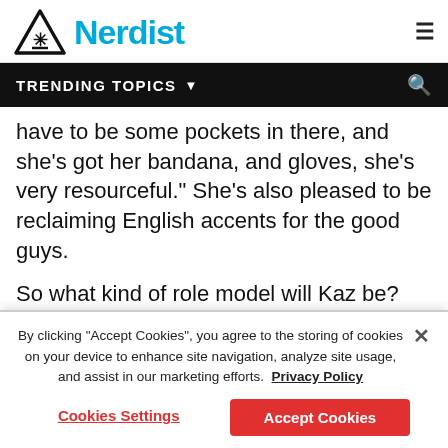Nerdist
TRENDING TOPICS
have to be some pockets in there, and she's got her bandana, and gloves, she's very resourceful." She's also pleased to be reclaiming English accents for the good guys.
So what kind of role model will Kaz be? Sean breaks it down: “I definitely take in Han Solo’s charisma, Poe Dameron’s instinct, and, my father being military, I take in
By clicking “Accept Cookies”, you agree to the storing of cookies on your device to enhance site navigation, analyze site usage, and assist in our marketing efforts. Privacy Policy
Cookies Settings
Accept Cookies